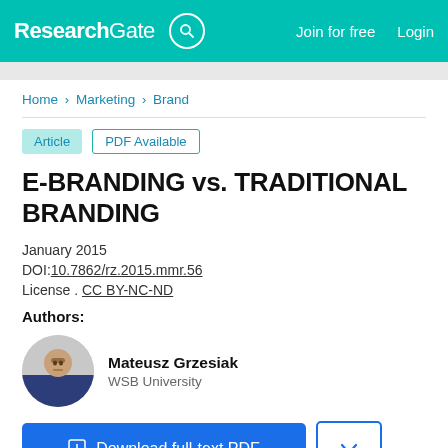ResearchGate  Join for free  Login
Home > Marketing > Brand
Article  PDF Available
E-BRANDING vs. TRADITIONAL BRANDING
January 2015
DOI:10.7862/rz.2015.mmr.56
License . CC BY-NC-ND
Authors:
Mateusz Grzesiak
WSB University
Download full-text PDF